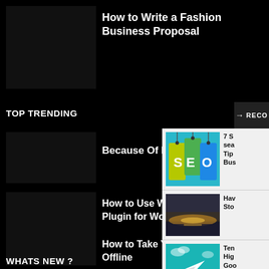How to Write a Fashion Business Proposal
TOP TRENDING
→   RECO
Because Of Her Beauty
[Figure (screenshot): SEO colorful hanging tags image]
7 S sea Tip Bus
How to Use WP EStore, Plugin for WordPress
[Figure (photo): Storm/dramatic sky over water photo]
Hav Sto
How to Take Your Online Offline
[Figure (illustration): Teal background with paper airplane and SEO label]
Ten Hig Goo
WHATS NEW ?